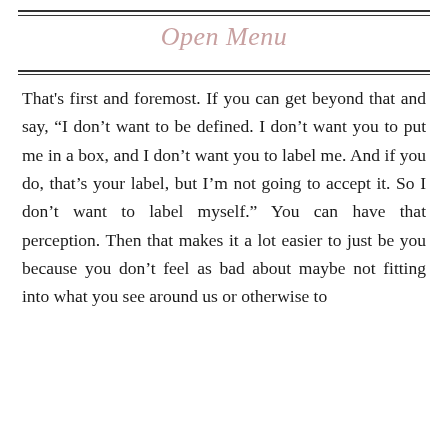Open Menu
That's first and foremost. If you can get beyond that and say, “I don’t want to be defined. I don’t want you to put me in a box, and I don’t want you to label me. And if you do, that’s your label, but I’m not going to accept it. So I don’t want to label myself.” You can have that perception. Then that makes it a lot easier to just be you because you don’t feel as bad about maybe not fitting into what you see around us or otherwise to just about to discern what being a person is